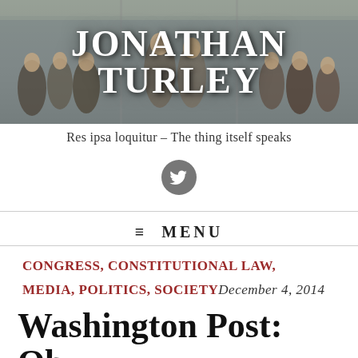JONATHAN TURLEY
Res ipsa loquitur – The thing itself speaks
[Figure (logo): Twitter bird icon in dark gray circle]
≡ MENU
CONGRESS, CONSTITUTIONAL LAW, MEDIA, POLITICS, SOCIETY December 4, 2014
Washington Post: Obama's